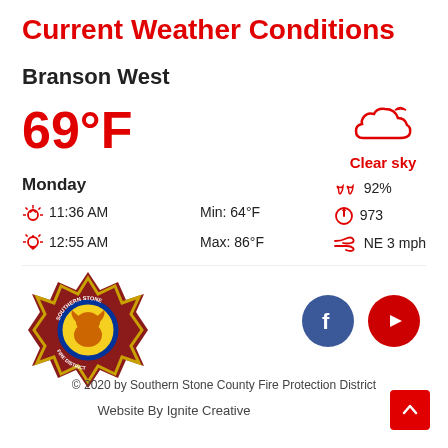Current Weather Conditions
Branson West
69°F
[Figure (illustration): Cloud icon representing clear sky weather condition, drawn in red outline style]
Clear sky
Monday
sunrise 11:36 AM
sunset 12:55 AM
Min: 64°F
Max: 86°F
92%
973
NE 3 mph
[Figure (logo): Southern Stone County Fire Protection District badge/patch logo with eagle in center]
[Figure (other): Facebook and YouTube social media circular icon buttons]
© 2020 by Southern Stone County Fire Protection District
Website By Ignite Creative